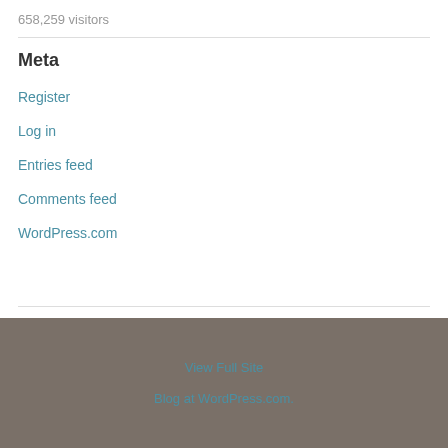658,259 visitors
Meta
Register
Log in
Entries feed
Comments feed
WordPress.com
View Full Site
Blog at WordPress.com.